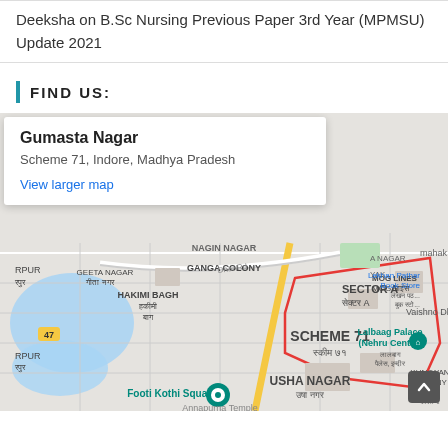Deeksha on B.Sc Nursing Previous Paper 3rd Year (MPMSU) Update 2021
FIND US:
[Figure (map): Google Maps showing Gumasta Nagar, Scheme 71, Indore, Madhya Pradesh. Map shows surrounding areas including Geeta Nagar, Ganga Colony, Hakimi Bagh, Sector A, Usha Nagar, Footi Kothi Square, Lalbaag Palace (Nehru Centre), MOG Lines, Vaishno Dham, and Kunjwan Colony.]